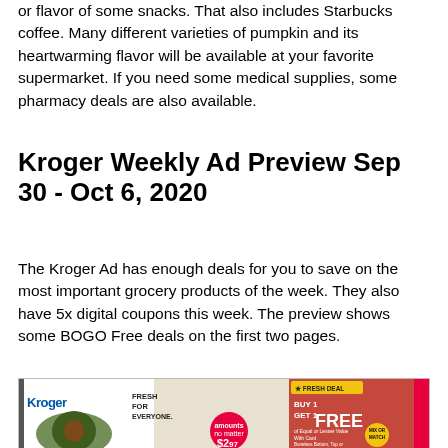or flavor of some snacks. That also includes Starbucks coffee. Many different varieties of pumpkin and its heartwarming flavor will be available at your favorite supermarket. If you need some medical supplies, some pharmacy deals are also available.
Kroger Weekly Ad Preview Sep 30 - Oct 6, 2020
The Kroger Ad has enough deals for you to save on the most important grocery products of the week. They also have 5x digital coupons this week. The preview shows some BOGO Free deals on the first two pages.
[Figure (photo): Kroger weekly ad flyer showing avocados, a BOGO Free fresh deal on meat, and $2.97 price tag. Text reads FRESH FOR EVERYONE, BUY 1 GET 1 FREE, Boneless Bottom, Top or Eye of Round Roast, With Card, Mix or Match.]